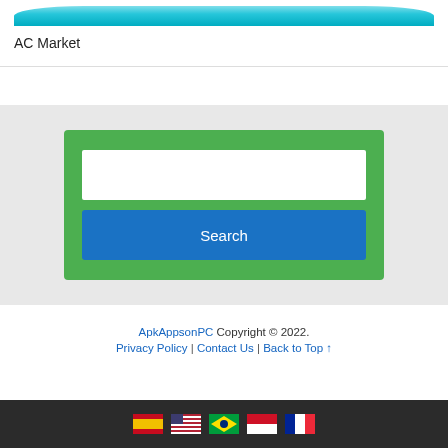AC Market
[Figure (screenshot): Search widget with green background, white text input field, and blue Search button]
ApkAppsonPC Copyright © 2022.
Privacy Policy | Contact Us | Back to Top ↑
[Figure (infographic): Dark bar with five country flag icons: Spain, USA, Brazil, Indonesia, France]